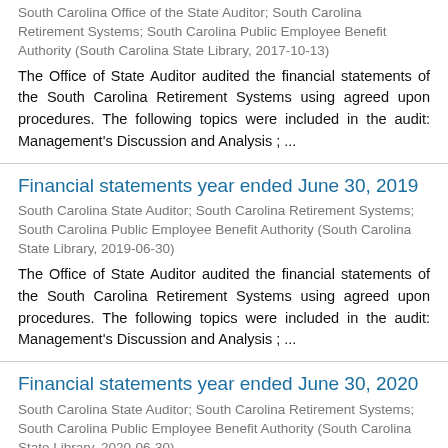South Carolina Office of the State Auditor; South Carolina Retirement Systems; South Carolina Public Employee Benefit Authority (South Carolina State Library, 2017-10-13)
The Office of State Auditor audited the financial statements of the South Carolina Retirement Systems using agreed upon procedures. The following topics were included in the audit: Management's Discussion and Analysis ; ...
Financial statements year ended June 30, 2019
South Carolina State Auditor; South Carolina Retirement Systems; South Carolina Public Employee Benefit Authority (South Carolina State Library, 2019-06-30)
The Office of State Auditor audited the financial statements of the South Carolina Retirement Systems using agreed upon procedures. The following topics were included in the audit: Management's Discussion and Analysis ; ...
Financial statements year ended June 30, 2020
South Carolina State Auditor; South Carolina Retirement Systems; South Carolina Public Employee Benefit Authority (South Carolina State Library, 2020-06-30)
The Office of State Auditor audited the financial statements of the South Carolina Retirement Systems using agreed upon